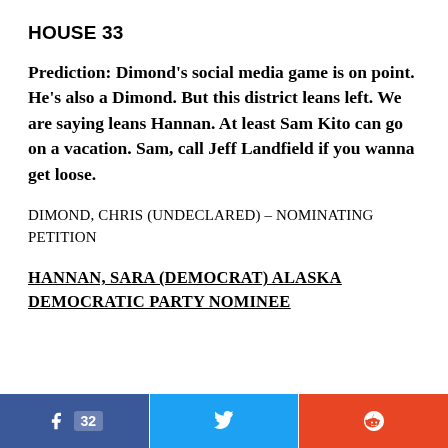HOUSE 33
Prediction: Dimond's social media game is on point. He's also a Dimond. But this district leans left. We are saying leans Hannan. At least Sam Kito can go on a vacation. Sam, call Jeff Landfield if you wanna get loose.
DIMOND, CHRIS (UNDECLARED) – NOMINATING PETITION
HANNAN, SARA (DEMOCRAT) ALASKA DEMOCRATIC PARTY NOMINEE
[Figure (infographic): Social sharing buttons: Facebook with count 32, Twitter, Reddit]